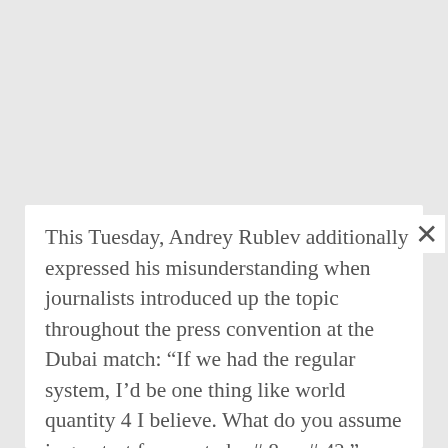This Tuesday, Andrey Rublev additionally expressed his misunderstanding when journalists introduced up the topic throughout the press convention at the Dubai match: “If we had the regular system, I’d be one thing like world quantity 4 I believe. What do you assume is greatest for me, to be # 8 or # 4? ”
If the provisional system shouldn’t be unanimous, it would stay in place for a number of months. ATP introduced at the starting of the month the extension of this